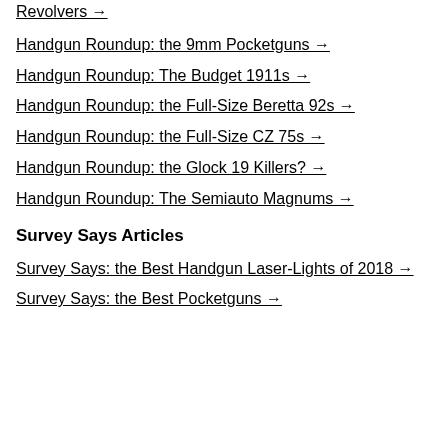Revolvers →
Handgun Roundup: the 9mm Pocketguns →
Handgun Roundup: The Budget 1911s →
Handgun Roundup: the Full-Size Beretta 92s →
Handgun Roundup: the Full-Size CZ 75s →
Handgun Roundup: the Glock 19 Killers? →
Handgun Roundup: The Semiauto Magnums →
Survey Says Articles
Survey Says: the Best Handgun Laser-Lights of 2018 →
Survey Says: the Best Pocketguns →